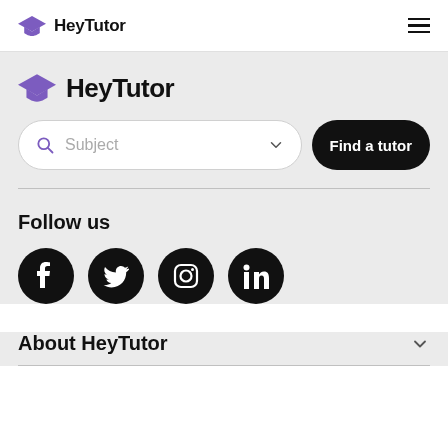HeyTutor
[Figure (logo): HeyTutor logo with purple graduation cap icon and bold HeyTutor text, in main content area]
Subject — Find a tutor (search bar with dropdown)
Follow us
[Figure (infographic): Four social media icons: Facebook, Twitter, Instagram, LinkedIn — black circles with white icons]
About HeyTutor